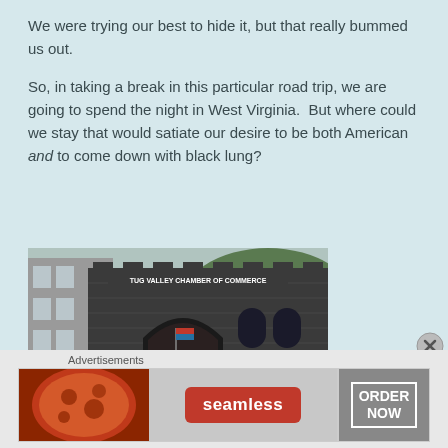We were trying our best to hide it, but that really bummed us out.
So, in taking a break in this particular road trip, we are going to spend the night in West Virginia.  But where could we stay that would satiate our desire to be both American and to come down with black lung?
[Figure (photo): A dark brick building with an arched entrance; sign reads 'TUG VALLEY CHAMBER OF COMMERCE'. Green shrubs and an American flag are visible.]
Advertisements
[Figure (other): Seamless food delivery advertisement banner with pizza image on left, Seamless logo in center, and ORDER NOW button on right.]